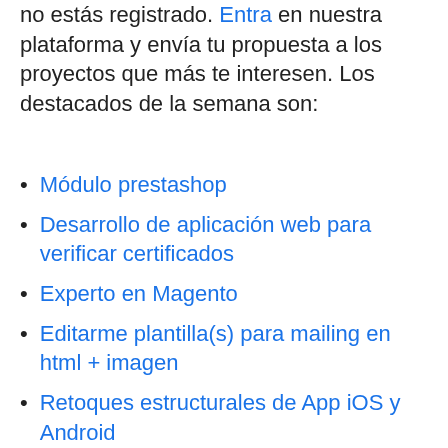no estás registrado. Entra en nuestra plataforma y envía tu propuesta a los proyectos que más te interesen. Los destacados de la semana son:
Módulo prestashop
Desarrollo de aplicación web para verificar certificados
Experto en Magento
Editarme plantilla(s) para mailing en html + imagen
Retoques estructurales de App iOS y Android
Desarrollador Joomla!